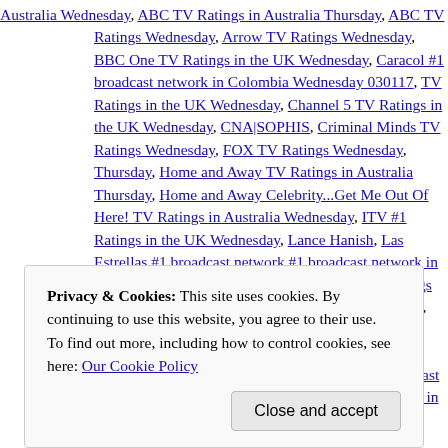Australia Wednesday, ABC TV Ratings in Australia Thursday, ABC TV Ratings Wednesday, Arrow TV Ratings Wednesday, BBC One TV Ratings in the UK Wednesday, Caracol #1 broadcast network in Colombia Wednesday 030117, TV Ratings in the UK Wednesday, Channel 5 TV Ratings in the UK Wednesday, CNA|SOPHIS, Criminal Minds TV Ratings Wednesday, FOX TV Ratings Wednesday, Thursday, Home and Away TV Ratings in Australia Thursday, Home and Away Celebrity...Get Me Out Of Here! TV Ratings in Australia Wednesday, ITV #1 Ratings in the UK Wednesday, Lance Hanish, Las Estrellas #1 broadcast network #1 broadcast network in Chile Wednesday 030117, Modern Family TV Ratings #1 Wednesday 030117, NBC TV Ratings Wednesday, Nine TV Ratings in Australia Wednesday, SBS TV Ratings in Australia Thursday, SBS TV Ratings Australia Wednesday 030117, Seven News #1 newscast in Australia Wednesday Thursday, Seven TV Ratings in Australia Wednesday, TEL TV Ratings Wednesday Wednesday 030117, Ten #1 in Australia Thursday 030217, Ten TV Ratings in Australia Wednesday, The CW TV Ratings Wednesday, The Footy Show TV Ratings Hispanic network Wednesday 030117, UNI TV Ratings Wednesday | Leave a
Privacy & Cookies: This site uses cookies. By continuing to use this website, you agree to their use.
To find out more, including how to control cookies, see here: Our Cookie Policy
Close and accept